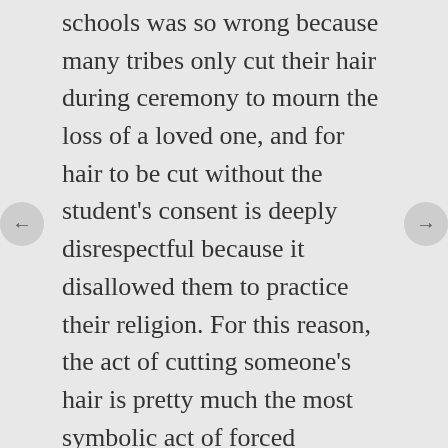schools was so wrong because many tribes only cut their hair during ceremony to mourn the loss of a loved one, and for hair to be cut without the student's consent is deeply disrespectful because it disallowed them to practice their religion. For this reason, the act of cutting someone's hair is pretty much the most symbolic act of forced assimilation there is. I think that's why it's on the cover of I Am Not a Number.
I'd like to mention that I really appreciate the Cree words in Robertson's book–one of the exciting things about being a reader in this era is the ability of Native authors to express cultural sovereignty through their work. Language is the vessel that holds culture. You can find studies that show kids have greater self-esteem when they read books